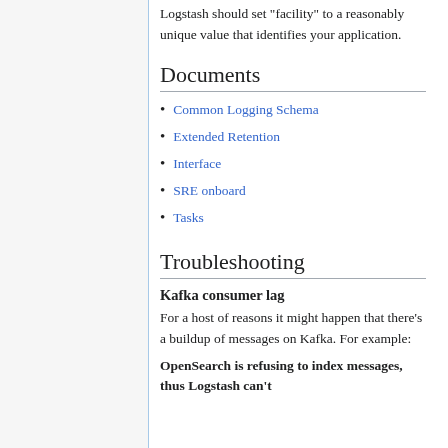Logstash should set "facility" to a reasonably unique value that identifies your application.
Documents
Common Logging Schema
Extended Retention
Interface
SRE onboard
Tasks
Troubleshooting
Kafka consumer lag
For a host of reasons it might happen that there's a buildup of messages on Kafka. For example:
OpenSearch is refusing to index messages, thus Logstash can't